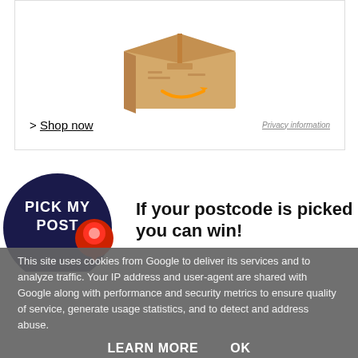[Figure (screenshot): Amazon advertisement showing a brown cardboard box with Amazon logo, with '> Shop now' link and 'Privacy information' text]
[Figure (logo): Pick My Post circular dark navy logo with red location pin icon, partially visible]
If your postcode is picked you can win!
This site uses cookies from Google to deliver its services and to analyze traffic. Your IP address and user-agent are shared with Google along with performance and security metrics to ensure quality of service, generate usage statistics, and to detect and address abuse.
LEARN MORE   OK